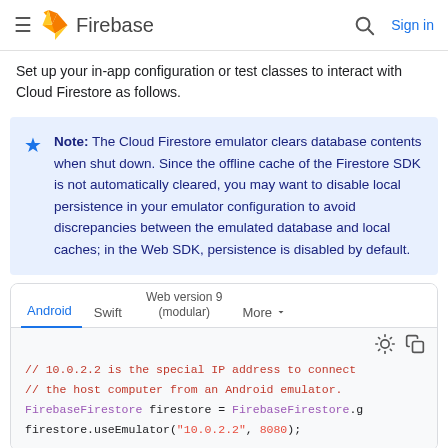Firebase — Sign in
Set up your in-app configuration or test classes to interact with Cloud Firestore as follows.
Note: The Cloud Firestore emulator clears database contents when shut down. Since the offline cache of the Firestore SDK is not automatically cleared, you may want to disable local persistence in your emulator configuration to avoid discrepancies between the emulated database and local caches; in the Web SDK, persistence is disabled by default.
[Figure (screenshot): Code snippet tab bar showing Android (active), Swift, Web version 9 (modular), More tabs, followed by Android code: // 10.0.2.2 is the special IP address to connect // the host computer from an Android emulator. FirebaseFirestore firestore = FirebaseFirestore.g firestore.useEmulator("10.0.2.2", 8080);]